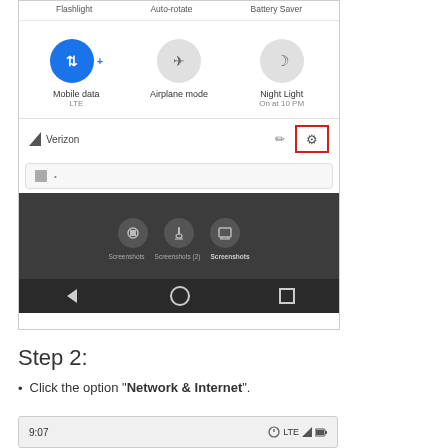[Figure (screenshot): Android quick settings panel showing Mobile data (LTE, active/blue), Airplane mode, and Night Light (On at 10 PM) icons, with Verizon carrier label, pencil edit icon, and gear/settings icon highlighted with red border. Below is a notification bar and dark media picker section with camera controls and navigation bar (back, home, recents).]
Step 2:
Click the option "Network & Internet".
[Figure (screenshot): Bottom portion of next Android settings screenshot showing status bar with time 9:07 and LTE/battery icons.]